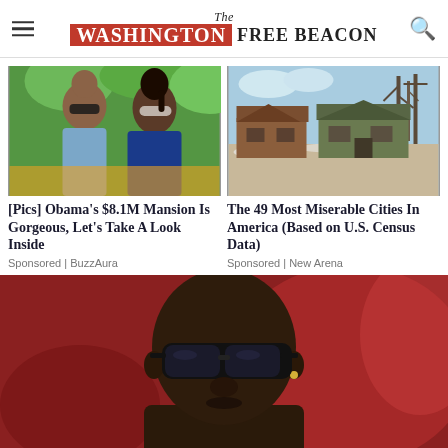The Washington Free Beacon
[Figure (photo): Couple (man and woman with sunglasses) outdoors with green foliage background]
[Pics] Obama's $8.1M Mansion Is Gorgeous, Let's Take A Look Inside
Sponsored | BuzzAura
[Figure (photo): Abandoned dilapidated houses on a street in winter]
The 49 Most Miserable Cities In America (Based on U.S. Census Data)
Sponsored | New Arena
[Figure (photo): Close-up of a man with a shaved head wearing dark sunglasses, with a red background]